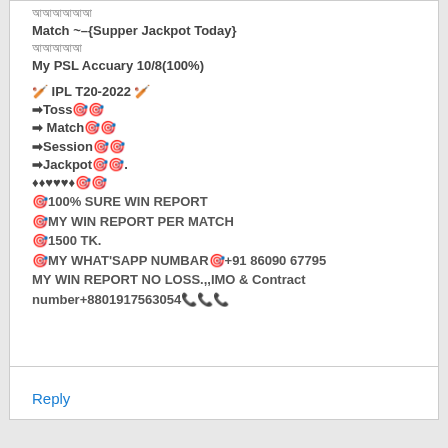অআইউ
Match ~–{Supper Jackpot Today}
আইউএব
My PSL Accuary 10/8(100%)
🏏 IPL T20-2022 🏏
➡Toss🎯🎯
➡ Match🎯🎯
➡Session🎯🎯
➡Jackpot🎯🎯.
♦♦♥♥♥♦🎯🎯
🎯100% SURE WIN REPORT
🎯MY WIN REPORT PER MATCH
🎯1500 TK.
🎯MY WHAT'SAPP NUMBAR🎯+91 86090 67795
MY WIN REPORT NO LOSS.,,IMO & Contract number+8801917563054📞📞📞
Reply